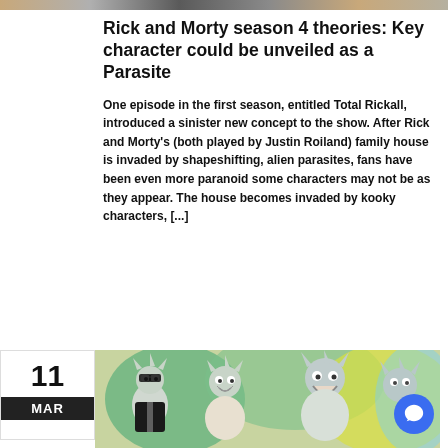[Figure (photo): Top image strip showing part of Rick and Morty animated characters]
Rick and Morty season 4 theories: Key character could be unveiled as a Parasite
One episode in the first season, entitled Total Rickall, introduced a sinister new concept to the show. After Rick and Morty's (both played by Justin Roiland) family house is invaded by shapeshifting, alien parasites, fans have been even more paranoid some characters may not be as they appear. The house becomes invaded by kooky characters, [...]
11
MAR
[Figure (illustration): Rick and Morty animated cartoon image showing multiple Rick characters in suits and regular clothing]